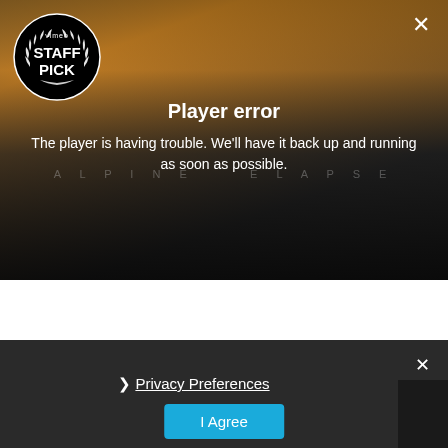[Figure (screenshot): Vimeo video player showing 'Player error' message over a dark alpine landscape background with Vimeo Staff Pick badge in top left corner and a close (X) button in top right]
Player error
The player is having trouble. We'll have it back up and running as soon as possible.
Privacy Preferences
I Agree